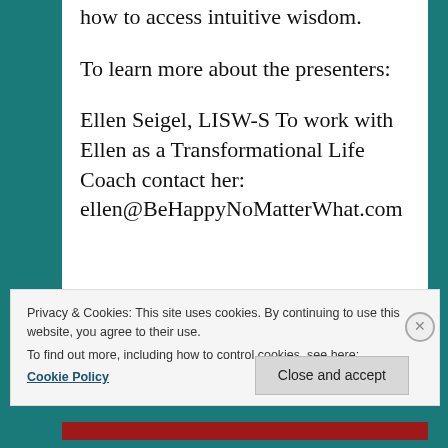how to access intuitive wisdom.
To learn more about the presenters:
Ellen Seigel, LISW-S To work with Ellen as a Transformational Life Coach contact her: ellen@BeHappyNoMatterWhat.com
Privacy & Cookies: This site uses cookies. By continuing to use this website, you agree to their use.
To find out more, including how to control cookies, see here:
Cookie Policy
Close and accept